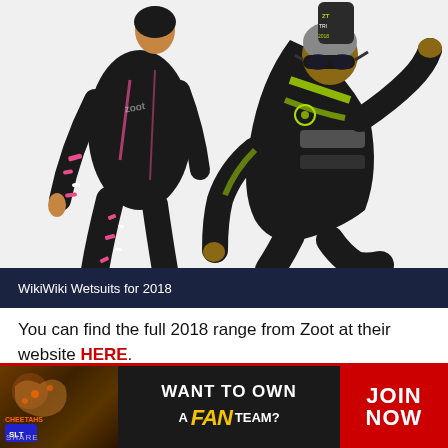[Figure (photo): Two athletes in Zoot wetsuits for 2018. Left: a woman viewed from behind wearing a black and pink patterned wetsuit. Right: a man facing forward/side in a dynamic running pose wearing a black and neon green patterned wetsuit with swim cap and goggles.]
WikiWiki Wetsuits for 2018
You can find the full 2018 range from Zoot at their website HERE.
[Figure (infographic): Advertisement banner: 'WANT TO OWN A FAN TEAM? JOIN NOW' featuring SLT Cheetahs branding on dark background with orange/yellow fan text and red JOIN NOW box on the right.]